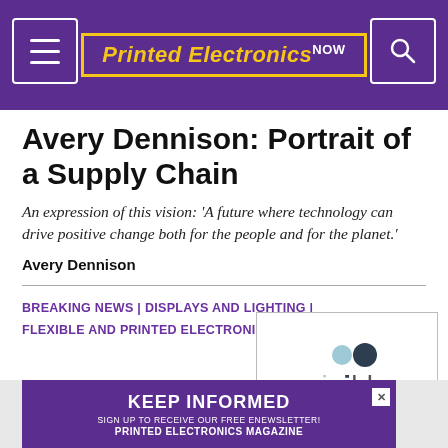Printed Electronics NOW
Avery Dennison: Portrait of a Supply Chain
An expression of this vision: 'A future where technology can drive positive change both for the people and for the planet.'
Avery Dennison
BREAKING NEWS | DISPLAYS AND LIGHTING | FLEXIBLE AND PRINTED ELECTRONICS | PERSONNEL
[Figure (logo): ynvisible logo with grey and dark dots above stylized text]
[Figure (infographic): Keep Informed banner - Sign up to receive our free eNewsletter! Printed Electronics Magazine]